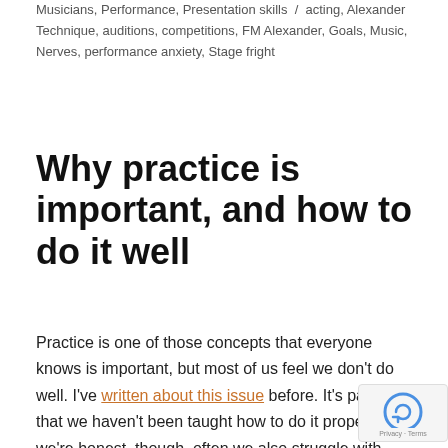Musicians, Performance, Presentation skills / acting, Alexander Technique, auditions, competitions, FM Alexander, Goals, Music, Nerves, performance anxiety, Stage fright
Why practice is important, and how to do it well
Practice is one of those concepts that everyone knows is important, but most of us feel we don't do well. I've written about this issue before. It's partly that we haven't been taught how to do it properly. If we're honest, though, often we also struggle with discipline of it: it can feel so difficult to commit to